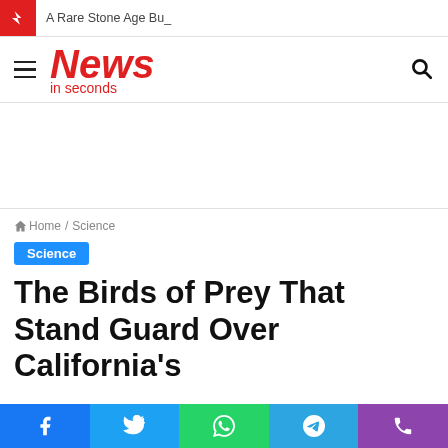A Rare Stone Age Bu_
[Figure (logo): News in seconds logo in red italic bold font with hamburger menu icon on left and search icon on right]
Home / Science
Science
The Birds of Prey That Stand Guard Over California's
[Figure (infographic): Social share bar with Facebook, Twitter, WhatsApp, Telegram, and phone icons]